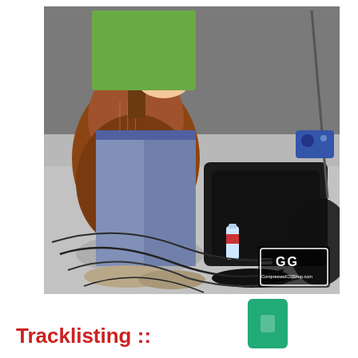[Figure (photo): A person playing an acoustic guitar on stage, wearing a green shirt and blue jeans, standing on a stage floor with cables, a guitar case, water bottle, and microphone stand visible. A watermarked logo overlay appears in the bottom right corner of the photo.]
Tracklisting ::